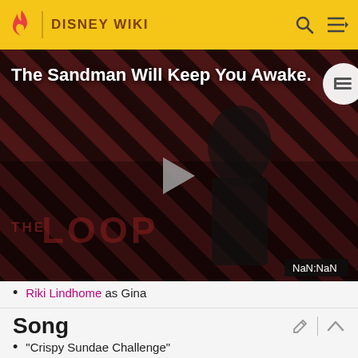DISNEY WIKI
[Figure (screenshot): Video thumbnail for 'The Sandman Will Keep You Awake.' showing a dark figure in black against a striped red-black background with THE LOOP watermark and a play button. Shows NaN:NaN timestamp.]
Riki Lindhome as Gina
Song
"Crispy Sundae Challenge"